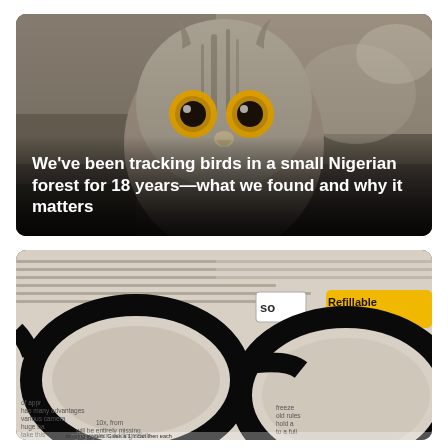[Figure (photo): Close-up photo of an owl with yellow eyes and bark-like feather texture, facing the camera, set against a blurry outdoor background.]
We've been tracking birds in a small Nigerian forest for 18 years—what we found and why it matters
[Figure (photo): Close-up photo of black-framed reading glasses resting on printed text, with a 'Refillable' yellow label and other printed materials visible in the background.]